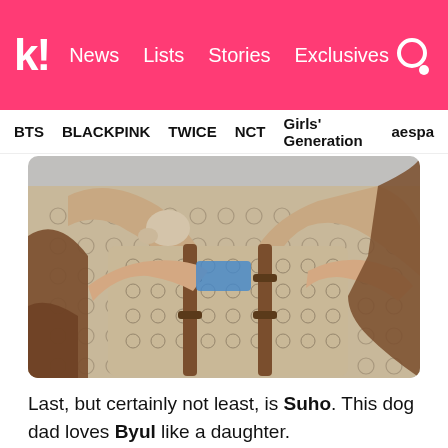k! News Lists Stories Exclusives
BTS BLACKPINK TWICE NCT Girls' Generation aespa
[Figure (photo): Person wearing a Gucci monogram outfit holding a Gucci bag with brown leather straps, with a dog visible, against a grey background.]
Last, but certainly not least, is Suho. This dog dad loves Byul like a daughter.